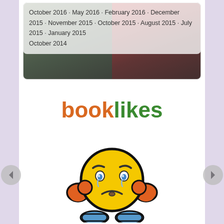[Figure (screenshot): Archive navigation widget showing dates: October 2016, May 2016, February 2016, December 2015, November 2015, October 2015, August 2015, July 2015, January 2015, October 2014, with book cover thumbnail images in the background]
[Figure (logo): BookLikes logo with 'book' in orange and 'likes' in green]
[Figure (illustration): Sad/frustrated emoji smiley face character, yellow round face with furrowed brows, tears, frown, orange hands on cheeks, blue feet/shoes, with thick black outline]